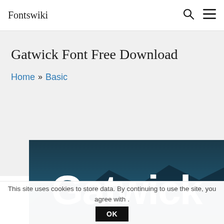Fontswiki
Gatwick Font Free Download
Home » Basic
[Figure (illustration): Font preview image showing the word 'Gatwick' in large white bold sans-serif lettering on a dark teal/blue background]
This site uses cookies to store data. By continuing to use the site, you agree with . OK